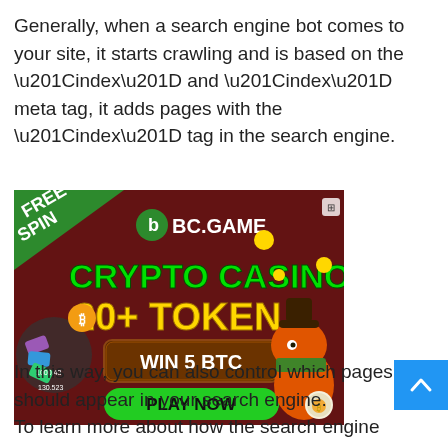Generally, when a search engine bot comes to your site, it starts crawling and is based on the “index” and “index” meta tag, it adds pages with the “index” tag in the search engine.
[Figure (illustration): BC.GAME crypto casino advertisement banner. Dark red/maroon background. Top left green corner with 'FREE SPIN' text. BC.GAME logo with green leaf icon. Large green text 'CRYPTO CASINO', large yellow text '20+ TOKEN'. Brown banner with white text 'WIN 5 BTC'. Green button with black text 'PLAY NOW'. Left side: colorful spinning wheel with cryptocurrency symbols and numbers (00.43, 1000.43, 130.523). Right side: cartoon orange dinosaur/hippo character wearing cowboy hat and green bandana, holding a bag with Bitcoin symbol. Gold coins scattered around. Small social media icon top right.]
In this way, you can also control which pages should appear in your search engine.
To learn more about how the search engine